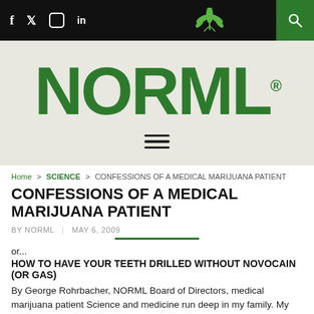NORML website navigation header with social icons (Facebook, Twitter, Instagram, LinkedIn), NORML logo, hamburger menu, and search
[Figure (logo): NORML logo — large bold green text reading NORML with registered trademark symbol on light gray background]
Home > SCIENCE > CONFESSIONS OF A MEDICAL MARIJUANA PATIENT
CONFESSIONS OF A MEDICAL MARIJUANA PATIENT
BY NORML | MAY 6, 2009
or...
HOW TO HAVE YOUR TEETH DRILLED WITHOUT NOVOCAIN (OR GAS)
By George Rohrbacher, NORML Board of Directors, medical marijuana patient Science and medicine run deep in my family. My dad and an uncle had Ph.D.s in parasitology and pathology. My